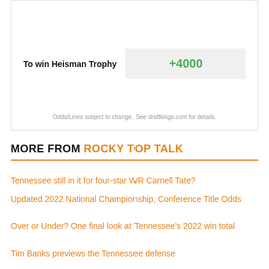| Bet | Odds |
| --- | --- |
| To win Heisman Trophy | +4000 |
Odds/Lines subject to change. See draftkings.com for details.
MORE FROM ROCKY TOP TALK
Tennessee still in it for four-star WR Carnell Tate?
Updated 2022 National Championship, Conference Title Odds
Over or Under? One final look at Tennessee's 2022 win total
Tim Banks previews the Tennessee defense